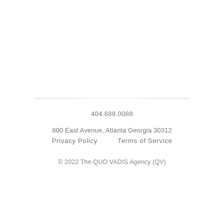404.688.0088
800 East Avenue, Atlanta Georgia 30312
Privacy Policy     Terms of Service
© 2022 The QUO VADIS Agency (QV)